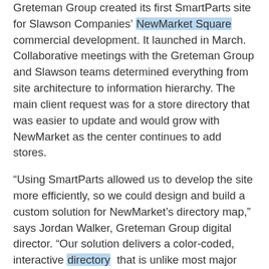Greteman Group created its first SmartParts site for Slawson Companies' NewMarket Square commercial development. It launched in March. Collaborative meetings with the Greteman Group and Slawson teams determined everything from site architecture to information hierarchy. The main client request was for a store directory that was easier to update and would grow with NewMarket as the center continues to add stores.
“Using SmartParts allowed us to develop the site more efficiently, so we could design and build a custom solution for NewMarket’s directory map,” says Jordan Walker, Greteman Group digital director. “Our solution delivers a color-coded, interactive directory that is unlike most major retail centers.